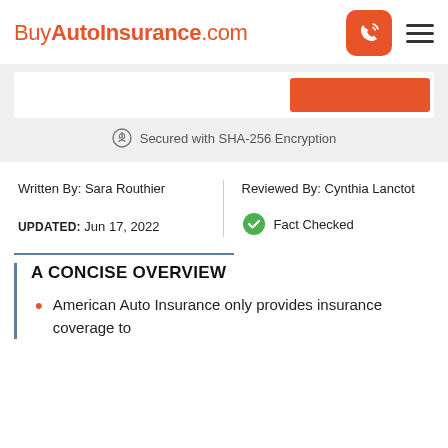BuyAutoInsurance.com
[Figure (screenshot): Form bar with white input field and orange button, 'Secured with SHA-256 Encryption' text with shield icon]
Written By: Sara Routhier
Reviewed By: Cynthia Lanctot
UPDATED: Jun 17, 2022
Fact Checked
A CONCISE OVERVIEW
American Auto Insurance only provides insurance coverage to